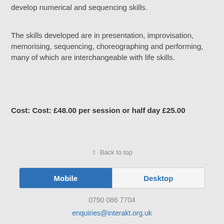develop numerical and sequencing skills.
The skills developed are in presentation, improvisation, memorising, sequencing, choreographing and performing, many of which are interchangeable with life skills.
Cost: Cost: £48.00 per session or half day £25.00
⇧ Back to top
Mobile | Desktop
0790 086 7704
enquiries@interakt.org.uk